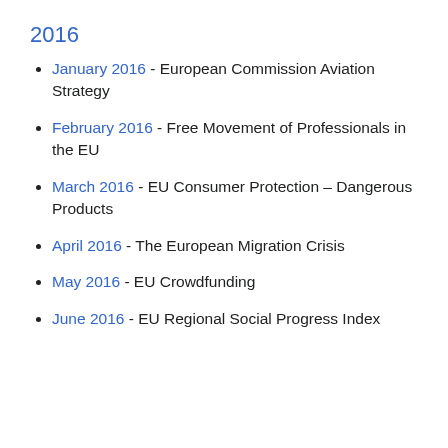2016
January 2016 - European Commission Aviation Strategy
February 2016 - Free Movement of Professionals in the EU
March 2016 - EU Consumer Protection – Dangerous Products
April 2016 - The European Migration Crisis
May 2016 - EU Crowdfunding
June 2016 - EU Regional Social Progress Index